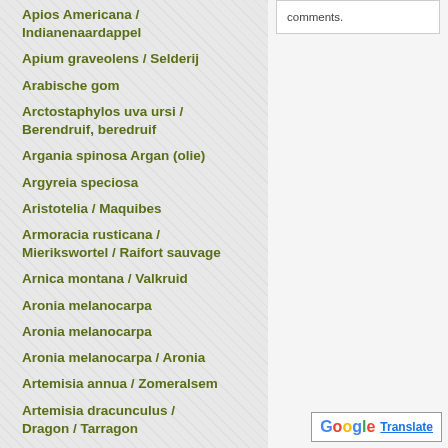comments.
Apios Americana / Indianenaardappel
Apium graveolens / Selderij
Arabische gom
Arctostaphylos uva ursi / Berendruif, beredruif
Argania spinosa Argan (olie)
Argyreia speciosa
Aristotelia / Maquibes
Armoracia rusticana / Mierikswortel / Raifort sauvage
Arnica montana / Valkruid
Aronia melanocarpa
Aronia melanocarpa
Aronia melanocarpa / Aronia
Artemisia annua / Zomeralsem
Artemisia dracunculus / Dragon / Tarragon
Artemisia species / Génépi
Artemisia vulgaris / Bijvoet /